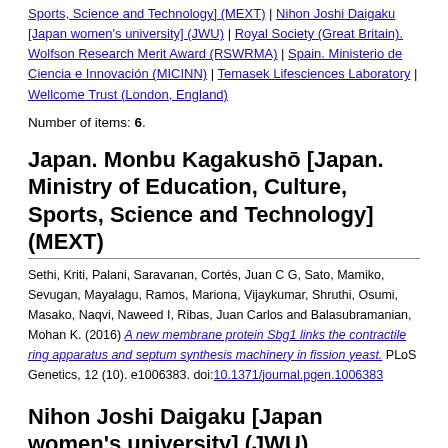Sports, Science and Technology] (MEXT) | Nihon Joshi Daigaku [Japan women's university] (JWU) | Royal Society (Great Britain). Wolfson Research Merit Award (RSWRMA) | Spain. Ministerio de Ciencia e Innovación (MICINN) | Temasek Lifesciences Laboratory | Wellcome Trust (London, England)
Number of items: 6.
Japan. Monbu Kagakushō [Japan. Ministry of Education, Culture, Sports, Science and Technology] (MEXT)
Sethi, Kriti, Palani, Saravanan, Cortés, Juan C G, Sato, Mamiko, Sevugan, Mayalagu, Ramos, Mariona, Vijaykumar, Shruthi, Osumi, Masako, Naqvi, Naweed I, Ribas, Juan Carlos and Balasubramanian, Mohan K. (2016) A new membrane protein Sbg1 links the contractile ring apparatus and septum synthesis machinery in fission yeast. PLoS Genetics, 12 (10). e1006383. doi:10.1371/journal.pgen.1006383
Nihon Joshi Daigaku [Japan women's university] (JWU)